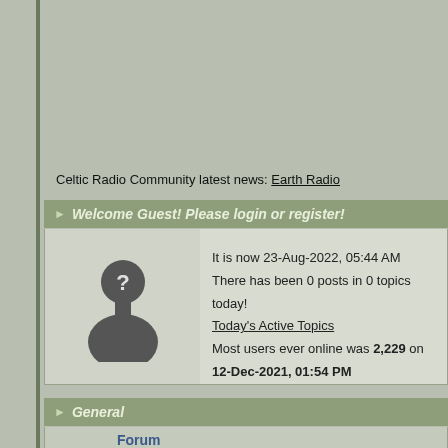Celtic Radio Community latest news: Earth Radio
Welcome Guest! Please login or register!
It is now 23-Aug-2022, 05:44 AM
There has been 0 posts in 0 topics today!
Today's Active Topics
Most users ever online was 2,229 on 12-Dec-2021, 01:54 PM
General
| Forum |
| --- |
| Introductions | Introduce yourself to our community. |
| General Discussion | General discussion area open to all topics. |